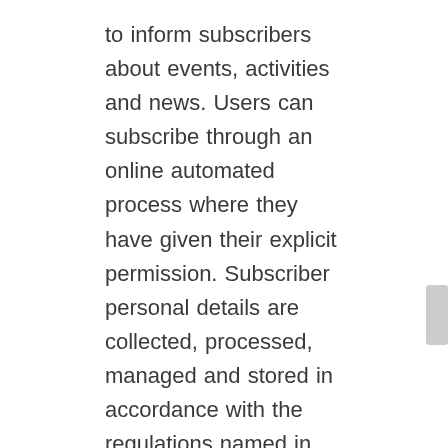to inform subscribers about events, activities and news. Users can subscribe through an online automated process where they have given their explicit permission. Subscriber personal details are collected, processed, managed and stored in accordance with the regulations named in 'The policy' above. Subscribers can unsubscribe at any time through an automated online service, or if not available, other means as detailed in the footer of sent marketing messages. The type and content of marketing messages subscribers receive, and if it may contain third party content, is clearly outlined at the point of